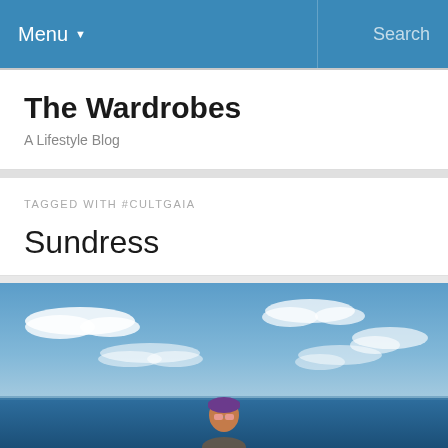Menu ▼    Search
The Wardrobes
A Lifestyle Blog
TAGGED WITH #CULTGAIA
Sundress
[Figure (photo): A person wearing sunglasses and a purple headband standing at a beach with blue sky and white clouds in the background, ocean visible behind them.]